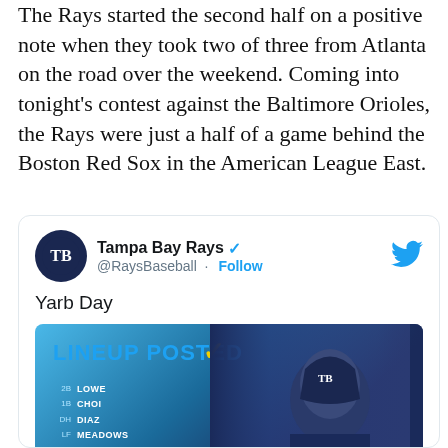The Rays started the second half on a positive note when they took two of three from Atlanta on the road over the weekend. Coming into tonight's contest against the Baltimore Orioles, the Rays were just a half of a game behind the Boston Red Sox in the American League East.
[Figure (screenshot): Embedded tweet from @RaysBaseball (Tampa Bay Rays) with verified checkmark and Follow button. Tweet text says 'Yarb Day'. Below the text is a lineup graphic with a blue gradient background showing 'LINEUP POSTED' with a yellow checkmark and a list of players: 2B LOWE, 1B CHOI, DH DIAZ, LF MEADOWS, RF AROZARENA, 3B WENDLE, C ZUNINO. Right side shows a photo of a player in Tampa Bay Rays gear.]